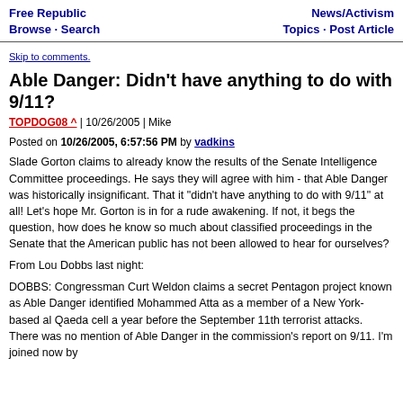Free Republic | Browse · Search | News/Activism | Topics · Post Article
Skip to comments.
Able Danger: Didn't have anything to do with 9/11?
TOPDOG08 ^ | 10/26/2005 | Mike
Posted on 10/26/2005, 6:57:56 PM by vadkins
Slade Gorton claims to already know the results of the Senate Intelligence Committee proceedings. He says they will agree with him - that Able Danger was historically insignificant. That it "didn't have anything to do with 9/11" at all! Let's hope Mr. Gorton is in for a rude awakening. If not, it begs the question, how does he know so much about classified proceedings in the Senate that the American public has not been allowed to hear for ourselves?
From Lou Dobbs last night:
DOBBS: Congressman Curt Weldon claims a secret Pentagon project known as Able Danger identified Mohammed Atta as a member of a New York-based al Qaeda cell a year before the September 11th terrorist attacks. There was no mention of Able Danger in the commission's report on 9/11. I'm joined now by